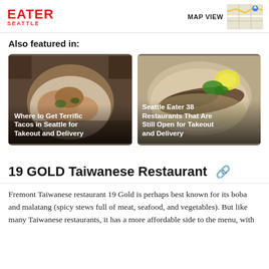EATER SEATTLE | MAP VIEW
Also featured in:
[Figure (photo): Food photo: plate of tacos with toppings, overhead shot on wooden table]
Where to Get Terrific Tacos in Seattle for Takeout and Delivery
[Figure (photo): Food photo: grilled fish with lemon and herbs on a plate]
Seattle Eater 38 Restaurants That Are Still Open for Takeout and Delivery
19 GOLD Taiwanese Restaurant
Fremont Taiwanese restaurant 19 Gold is perhaps best known for its boba and malatang (spicy stews full of meat, seafood, and vegetables). But like many Taiwanese restaurants, it has a more affordable side to the menu, with